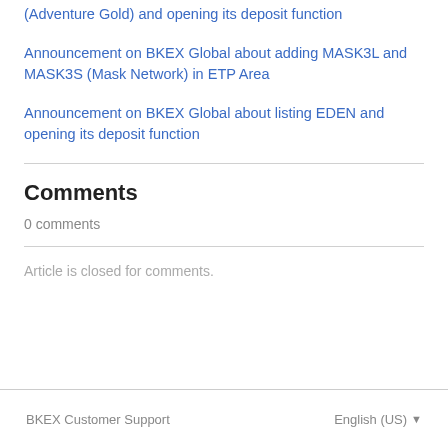(Adventure Gold) and opening its deposit function
Announcement on BKEX Global about adding MASK3L and MASK3S (Mask Network) in ETP Area
Announcement on BKEX Global about listing EDEN and opening its deposit function
Comments
0 comments
Article is closed for comments.
BKEX Customer Support    English (US)